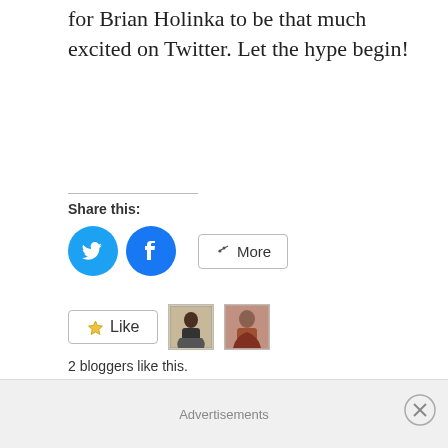for Brian Holinka to be that much excited on Twitter. Let the hype begin!
Share this:
[Figure (other): Share buttons: Twitter (blue circle), Facebook (blue circle), More button]
[Figure (other): Like button with two blogger avatars]
2 bloggers like this.
Related
[Figure (photo): Related article image 1: fantasy game art with dragon]
[Figure (photo): Related article image 2: Battle for Azeroth Visions of... game logo]
Advertisements